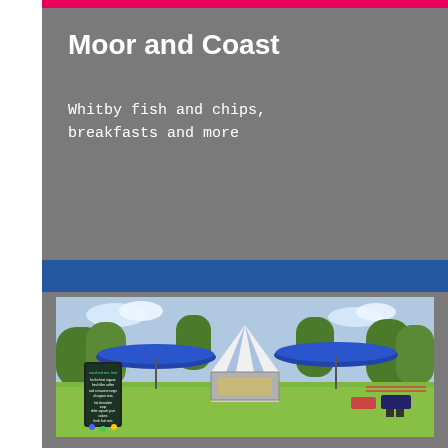Moor and Coast
Whitby fish and chips,
breakfasts and more
[Figure (photo): Outdoor food market scene with a large white and blue striped tent/marquee in the background, blue umbrellas on either side, and a blackboard sign in the foreground for 'mashed tea tent' listing organic coffee, teas, hot chocolate, soup, elderflower squash juice, cakes, fresh fruit nuts. Green grass lawn, trees in background.]